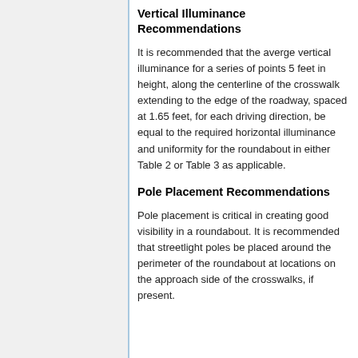Vertical Illuminance Recommendations
It is recommended that the averge vertical illuminance for a series of points 5 feet in height, along the centerline of the crosswalk extending to the edge of the roadway, spaced at 1.65 feet, for each driving direction, be equal to the required horizontal illuminance and uniformity for the roundabout in either Table 2 or Table 3 as applicable.
Pole Placement Recommendations
Pole placement is critical in creating good visibility in a roundabout. It is recommended that streetlight poles be placed around the perimeter of the roundabout at locations on the approach side of the crosswalks, if present.